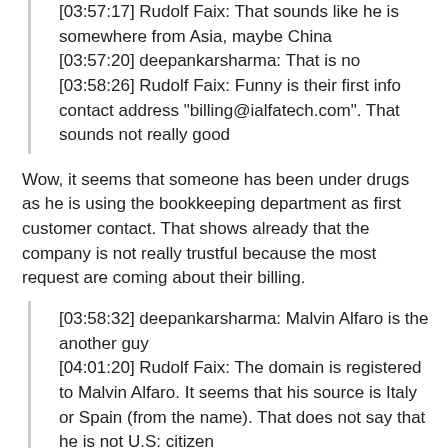[03:57:17] Rudolf Faix: That sounds like he is somewhere from Asia, maybe China
[03:57:20] deepankarsharma: That is no
[03:58:26] Rudolf Faix: Funny is their first info contact address "billing@ialfatech.com". That sounds not really good
Wow, it seems that someone has been under drugs as he is using the bookkeeping department as first customer contact. That shows already that the company is not really trustful because the most request are coming about their billing.
[03:58:32] deepankarsharma: Malvin Alfaro is the another guy
[04:01:20] Rudolf Faix: The domain is registered to Malvin Alfaro. It seems that his source is Italy or Spain (from the name). That does not say that he is not U.S: citizen